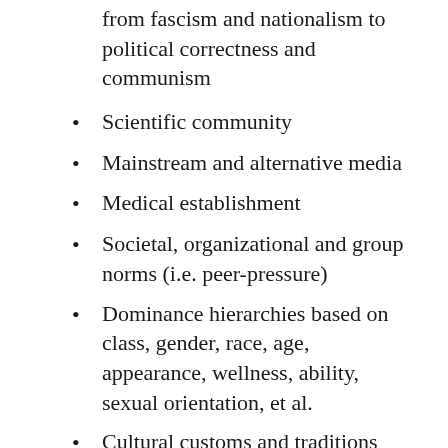from fascism and nationalism to political correctness and communism
Scientific community
Mainstream and alternative media
Medical establishment
Societal, organizational and group norms (i.e. peer-pressure)
Dominance hierarchies based on class, gender, race, age, appearance, wellness, ability, sexual orientation, et al.
Cultural customs and traditions
Familial dominance (i.e. patriarch,